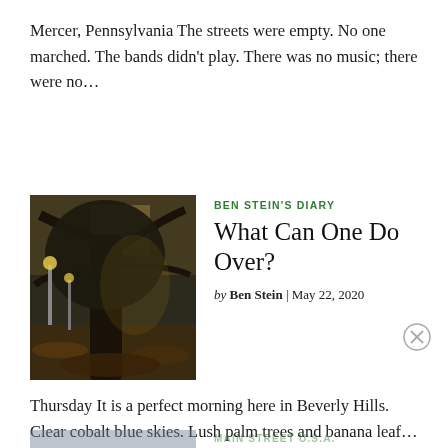Mercer, Pennsylvania The streets were empty. No one marched. The bands didn't play. There was no music; there were no...
[Figure (photo): Outdoor scene with a large tree in a park, golden lamppost lights visible in the background, warm evening light, fallen leaves on ground]
BEN STEIN'S DIARY
What Can One Do Over?
by Ben Stein | May 22, 2020
Thursday It is a perfect morning here in Beverly Hills. Clear cobalt blue skies. Lush palm trees and banana leaf...
[Figure (photo): Partially visible article photo at bottom of page, faded/loading]
MAIN STREET U.S.A.
Dissing the Dead in Dallas